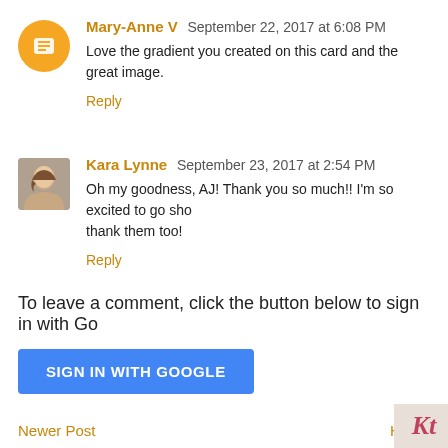Mary-Anne V  September 22, 2017 at 6:08 PM
Love the gradient you created on this card and the great image.
Reply
Kara Lynne  September 23, 2017 at 2:54 PM
Oh my goodness, AJ! Thank you so much!! I'm so excited to go sho thank them too!
Reply
To leave a comment, click the button below to sign in with Go
SIGN IN WITH GOOGLE
Newer Post
Home
Subscribe to: Post Comments (Atom)